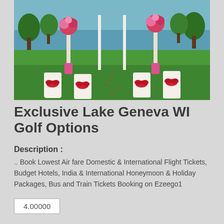[Figure (photo): Outdoor wedding venue by a lake with white chair covers tied with red bows, white fabric draping, and floral arrangements in pink vases on green lawn]
Exclusive Lake Geneva WI Golf Options
Description :
.. Book Lowest Air fare Domestic & International Flight Tickets, Budget Hotels, India & International Honeymoon & Holiday Packages, Bus and Train Tickets Booking on Ezeego1
4.00000